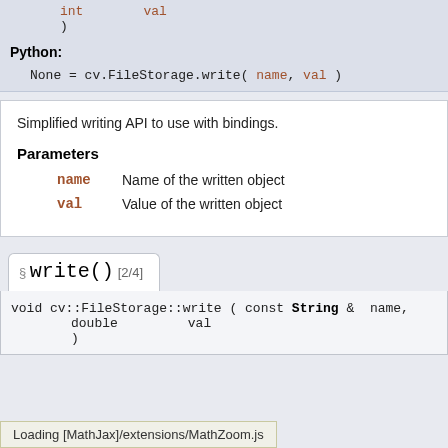int    val
)
Python:
None = cv.FileStorage.write( name, val )
Simplified writing API to use with bindings.
Parameters
name  Name of the written object
val   Value of the written object
§ write() [2/4]
void cv::FileStorage::write ( const String &  name,
                              double         val
                            )
Loading [MathJax]/extensions/MathZoom.js